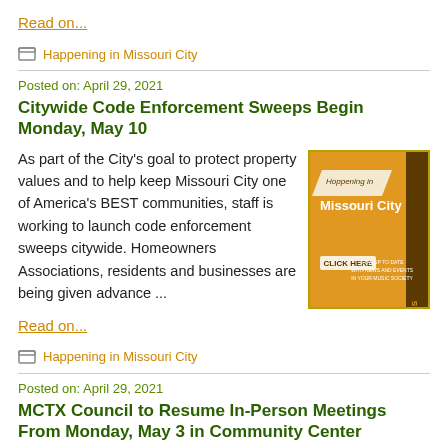Read on...
Happening in Missouri City
Posted on: April 29, 2021
Citywide Code Enforcement Sweeps Begin Monday, May 10
As part of the City's goal to protect property values and to help keep Missouri City one of America's BEST communities, staff is working to launch code enforcement sweeps citywide. Homeowners Associations, residents and businesses are being given advance ...
[Figure (infographic): Orange square graphic titled 'Happening in Missouri City' with text 'LATEST COMMUNITY NEWS', 'CLICK HERE', and promotional text. Has a diagonal banner label.]
Read on...
Happening in Missouri City
Posted on: April 29, 2021
MCTX Council to Resume In-Person Meetings From Monday, May 3 in Community Center